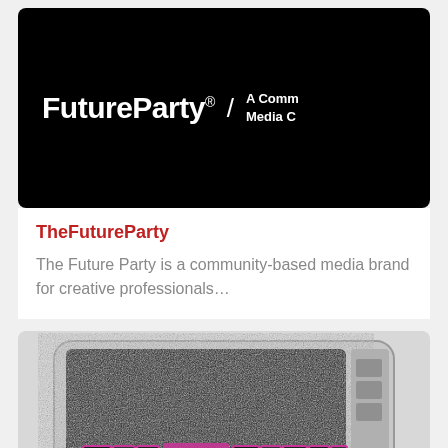[Figure (logo): TheFutureParty logo on black background — white bold text 'FutureParty®' with slash and tagline 'A Comm... Media C...']
TheFutureParty
The Future Party is a community-based media brand for creative professionals…
[Figure (logo): Vintage TV set showing static/noise with 'the fast times' text displayed in pink-outlined letter tiles on the screen]